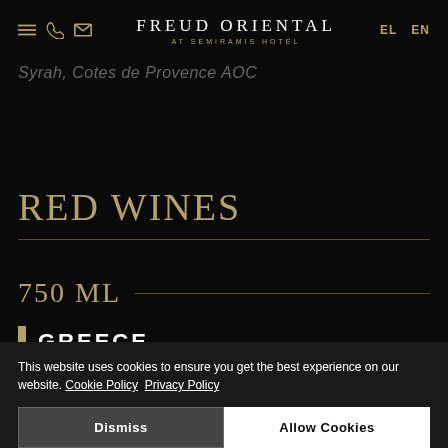FREUD ORIENTAL AT SEMIRAMIS HOTEL | EL  EN
Syrah, Cotes de Provence AOC
RED WINES
750 ML
GREECE
This website uses cookies to ensure you get the best experience on our website. Cookie Policy  Privacy Policy
Dismiss  Allow Cookies